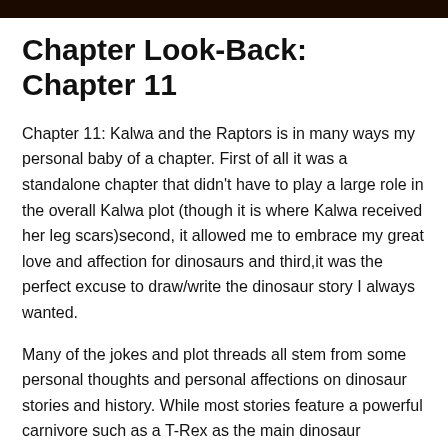Chapter Look-Back: Chapter 11
Chapter 11: Kalwa and the Raptors is in many ways my personal baby of a chapter. First of all it was a standalone chapter that didn't have to play a large role in the overall Kalwa plot (though it is where Kalwa received her leg scars)second, it allowed me to embrace my great love and affection for dinosaurs and third,it was the perfect excuse to draw/write the dinosaur story I always wanted.
Many of the jokes and plot threads all stem from some personal thoughts and personal affections on dinosaur stories and history. While most stories feature a powerful carnivore such as a T-Rex as the main dinosaur